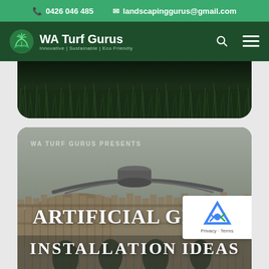0426 046 485  landscapinggurus@gmail.com
[Figure (logo): WA Turf Gurus logo with plant/grass icon and text: WA Turf Gurus, Innovative | Sustainable | Eco Friendly]
[Figure (photo): Close-up of dark green grass/turf texture, shown in a card with rounded bottom corners]
[Figure (photo): Article card with grey sky background, wooden fence/building structure, trees. Text overlay: WA TURF GURUS PRESENTS / ARTIFICIAL GRASS / INSTALLATION IDEAS]
WA TURF GURUS PRESENTS
ARTIFICIAL GRASS
INSTALLATION IDEAS